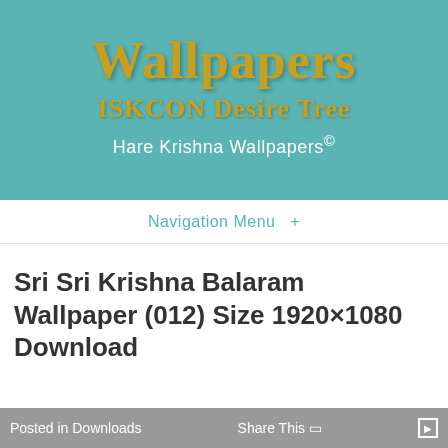[Figure (logo): ISKCON Desire Tree Wallpapers website header banner with teal/turquoise background, featuring 'Wallpapers' in gold serif font, 'ISKCON Desire Tree' in gold serif font, and 'Hare Krishna Wallpapers©' in white sans-serif font]
Navigation Menu +
Sri Sri Krishna Balaram Wallpaper (012) Size 1920×1080 Download
Posted in Downloads